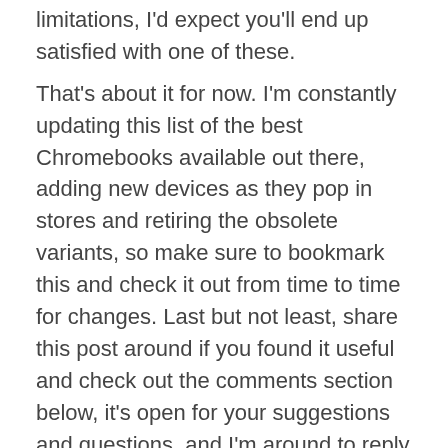limitations, I'd expect you'll end up satisfied with one of these.
That's about it for now. I'm constantly updating this list of the best Chromebooks available out there, adding new devices as they pop in stores and retiring the obsolete variants, so make sure to bookmark this and check it out from time to time for changes. Last but not least, share this post around if you found it useful and check out the comments section below, it's open for your suggestions and questions, and I'm around to reply and help you find the best Chromebook for your needs.
The post Best Chromebooks of 2020 – comparisons, reviews and buying guide appeared first on UltrabookReview.com